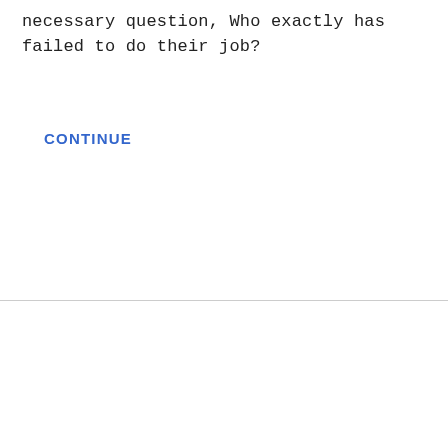necessary question, Who exactly has failed to do their job?
CONTINUE
ROB FORD AND THE CRIMINALS, CONTINUED